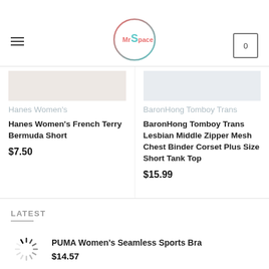[Figure (logo): MrSpace circular logo with gradient border (pink/teal)]
Hanes Women's French Terry Bermuda Short
$7.50
BaronHong Tomboy Trans Lesbian Middle Zipper Mesh Chest Binder Corset Plus Size Short Tank Top
$15.99
LATEST
PUMA Women's Seamless Sports Bra
$14.57
Women's Summer Lounge Sets Knit 2 Piece Outfits Tank Tops and Shorts Loungewear
$28.99
BOKWAI Women's Nightwear Short Sleeve Shirt